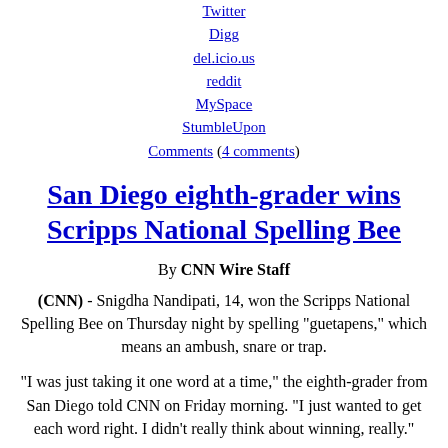Twitter
Digg
del.icio.us
reddit
MySpace
StumbleUpon
Comments (4 comments)
San Diego eighth-grader wins Scripps National Spelling Bee
By CNN Wire Staff
(CNN) - Snigdha Nandipati, 14, won the Scripps National Spelling Bee on Thursday night by spelling "guetapens," which means an ambush, snare or trap.
"I was just taking it one word at a time," the eighth-grader from San Diego told CNN on Friday morning. "I just wanted to get each word right. I didn't really think about winning, really."
The agony and ecstasy of the National Spelling Bee
She said that properly spelling the winning word, which is derived from French, was not difficult. She had seen the word before and